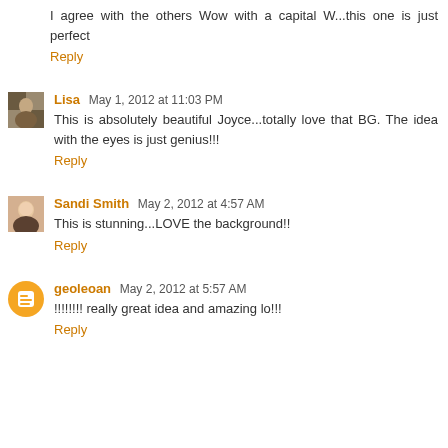I agree with the others Wow with a capital W...this one is just perfect
Reply
Lisa May 1, 2012 at 11:03 PM
This is absolutely beautiful Joyce...totally love that BG. The idea with the eyes is just genius!!!
Reply
Sandi Smith May 2, 2012 at 4:57 AM
This is stunning...LOVE the background!!
Reply
geoleoan May 2, 2012 at 5:57 AM
!!!!!!!! really great idea and amazing lo!!!
Reply